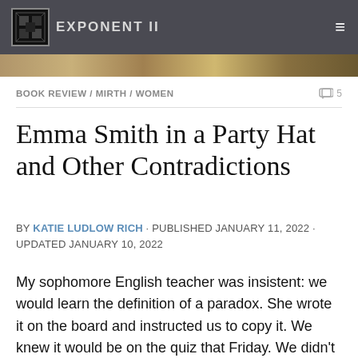EXPONENT II
BOOK REVIEW / MIRTH / WOMEN   5
Emma Smith in a Party Hat and Other Contradictions
BY KATIE LUDLOW RICH · PUBLISHED JANUARY 11, 2022 · UPDATED JANUARY 10, 2022
My sophomore English teacher was insistent: we would learn the definition of a paradox. She wrote it on the board and instructed us to copy it. We knew it would be on the quiz that Friday. We didn't realize that it would show up as a final question on nearly every quiz for the rest of the year.